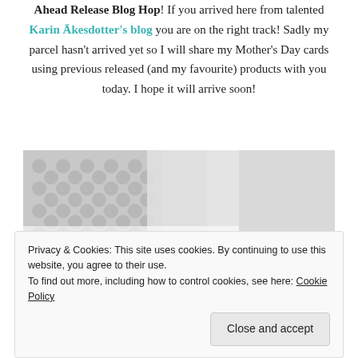Ahead Release Blog Hop! If you arrived here from talented Karin Äkesdotter's blog you are on the right track! Sadly my parcel hasn't arrived yet so I will share my Mother's Day cards using previous released (and my favourite) products with you today. I hope it will arrive soon!
[Figure (photo): A photo showing white lace/crochet textile on the left half and light gray fabric texture on the right, with blue floral/botanical patterned cards partially visible at the bottom]
Privacy & Cookies: This site uses cookies. By continuing to use this website, you agree to their use.
To find out more, including how to control cookies, see here: Cookie Policy